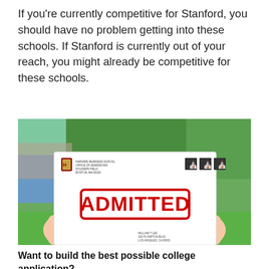If you're currently competitive for Stanford, you should have no problem getting into these schools. If Stanford is currently out of your reach, you might already be competitive for these schools.
[Figure (photo): Photo of two hands holding a white envelope stamped with 'ADMITTED' in large red block letters with a red border. The envelope shows a Harvard Business School return address in the upper left and postage stamps in the upper right. The recipient address reads WILLIAM T LEE, 100 PLYMPTON BLVD, LOS ANGELES, CA 90001. Background shows an outdoor campus scene with greenery and a fountain.]
Want to build the best possible college application? We can help. PrepScholar Admissions is the...